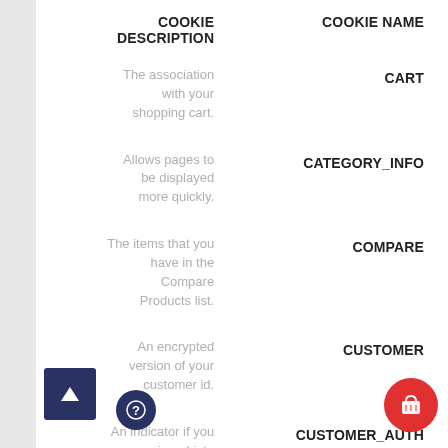| COOKIE DESCRIPTION | COOKIE NAME |
| --- | --- |
| The association with your shopping cart. | CART |
| Allows pages to be displayed more quickly. | CATEGORY_INFO |
| The items that you have in the Compare Products list. | COMPARE |
| An encrypted version of your customer id. | CUSTOMER |
| An indicator if you are signed into the store. | CUSTOMER_AUTH |